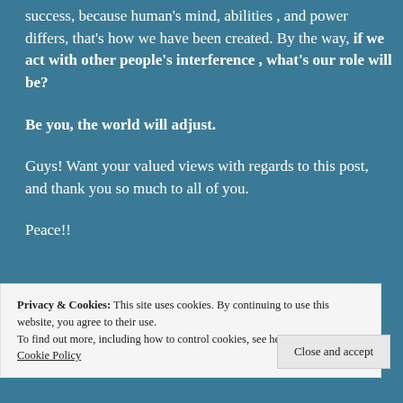success, because human's mind, abilities , and power differs, that's how we have been created. By the way, if we act with other people's interference , what's our role will be?
Be you, the world will adjust.
Guys! Want your valued views with regards to this post, and thank you so much to all of you.
Peace!!
Privacy & Cookies: This site uses cookies. By continuing to use this website, you agree to their use.
To find out more, including how to control cookies, see here: Cookie Policy
Close and accept